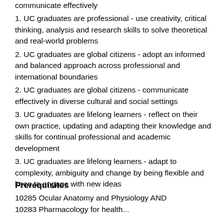communicate effectively
1. UC graduates are professional - use creativity, critical thinking, analysis and research skills to solve theoretical and real-world problems
2. UC graduates are global citizens - adopt an informed and balanced approach across professional and international boundaries
2. UC graduates are global citizens - communicate effectively in diverse cultural and social settings
3. UC graduates are lifelong learners - reflect on their own practice, updating and adapting their knowledge and skills for continual professional and academic development
3. UC graduates are lifelong learners - adapt to complexity, ambiguity and change by being flexible and keen to engage with new ideas
Prerequisites
10285 Ocular Anatomy and Physiology AND 10283 Pharmacology for Health...